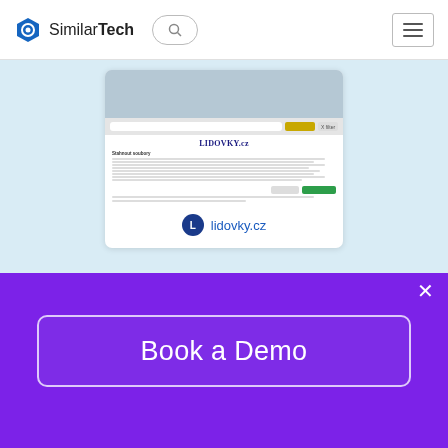SimilarTech
[Figure (screenshot): Screenshot of lidovky.cz website showing a modal/popup with text content]
lidovky.cz
[Figure (screenshot): Partial screenshot of another website with brownish/tan background]
Book a Demo